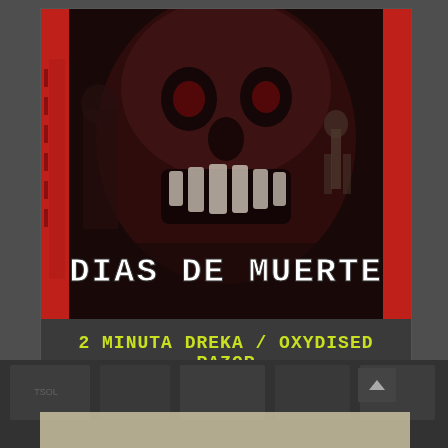[Figure (illustration): Album cover art for '2 Minuta Dreka / Oxydised Razor - Dias De Muerte Split CD'. Dark, gritty grindcore artwork featuring a monstrous skull/creature with teeth, skeleton figures, red border elements, and the title 'DIAS DE MUERTE' in large stylized white lettering at the bottom.]
2 MINUTA DREKA / OXYDISED RAZOR
Split - CD
GRIND BLOCK - 5 €